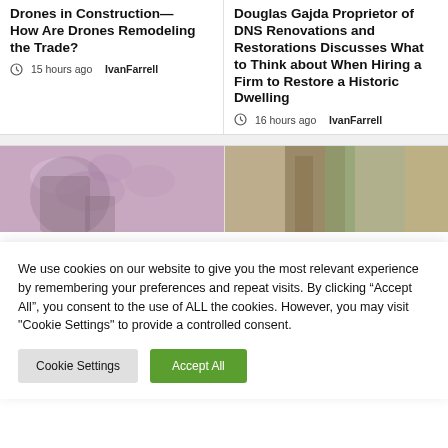Drones in Construction—How Are Drones Remodeling the Trade?
15 hours ago  IvanFarrell
Douglas Gajda Proprietor of DNS Renovations and Restorations Discusses What to Think about When Hiring a Firm to Restore a Historic Dwelling
16 hours ago  IvanFarrell
[Figure (photo): Photo of flowers/garden scene, pinkish purple tones]
[Figure (photo): Photo of interior/window scene with greenery, warm tones]
We use cookies on our website to give you the most relevant experience by remembering your preferences and repeat visits. By clicking “Accept All”, you consent to the use of ALL the cookies. However, you may visit "Cookie Settings" to provide a controlled consent.
Cookie Settings   Accept All